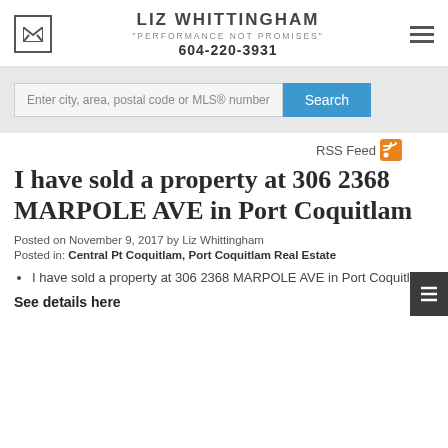LIZ WHITTINGHAM
"PERFORMANCE NOT PROMISES"
604-220-3931
Enter city, area, postal code or MLS® number
RSS Feed
I HAVE SOLD A PROPERTY AT 306 2368 MARPOLE AVE in Port Coquitlam
Posted on November 9, 2017 by Liz Whittingham
Posted in: Central Pt Coquitlam, Port Coquitlam Real Estate
I have sold a property at 306 2368 MARPOLE AVE in Port Coquitlam.
See details here